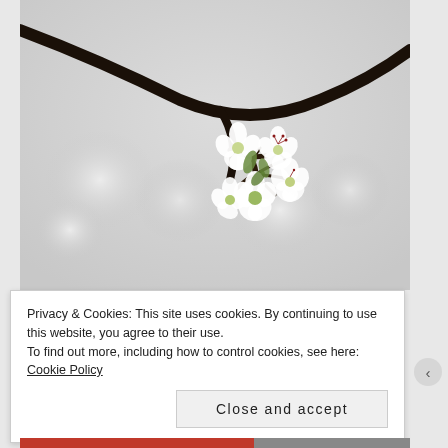[Figure (photo): Close-up photo of white cherry blossoms on a dark branch against a blurred grey-white background. Multiple small white flowers with green centers clustered together, with more blossoms blurred in the background.]
Privacy & Cookies: This site uses cookies. By continuing to use this website, you agree to their use.
To find out more, including how to control cookies, see here: Cookie Policy
Close and accept